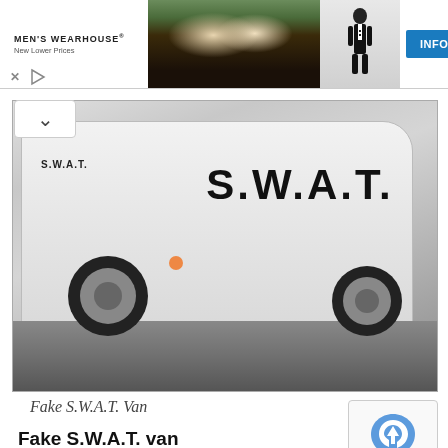[Figure (screenshot): Men's Wearhouse advertisement banner showing a couple in formal wear and a man in a tuxedo, with an INFO button]
[Figure (photo): A white SWAT van with 'S.W.A.T.' text on the side, parked on a snowy surface near a building]
Fake S.W.A.T. Van
Fake S.W.A.T. van